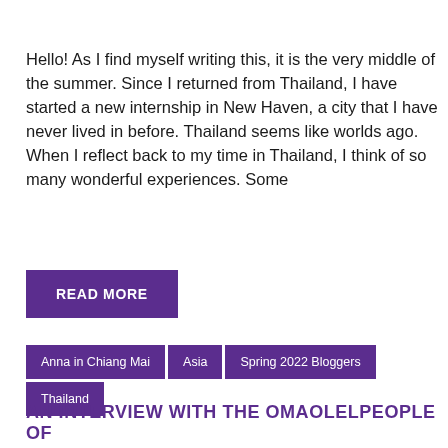Hello! As I find myself writing this, it is the very middle of the summer. Since I returned from Thailand, I have started a new internship in New Haven, a city that I have never lived in before. Thailand seems like worlds ago.  When I reflect back to my time in Thailand, I think of so many wonderful experiences. Some
READ MORE
Anna in Chiang Mai
Asia
Spring 2022 Bloggers
Thailand
AN INTERVIEW WITH THE OMAOLELPEOPLE OF